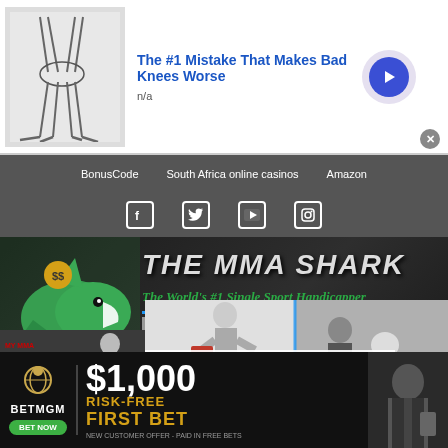[Figure (screenshot): Top advertisement banner: knee anatomy illustration on left, blue text headline 'The #1 Mistake That Makes Bad Knees Worse', subtext 'n/a', blue circular arrow button on right]
BonusCode  South Africa online casinos  Amazon
[Figure (screenshot): Social media icons row: Facebook, Twitter, YouTube, Instagram]
[Figure (logo): THE MMA SHARK - The World's #1 Single Sport Handicapper banner with shark logo]
[Figure (screenshot): MMA news BetUS advertisement with fighter image on left side panel]
[Figure (photo): MMA fighting/grappling video thumbnail showing two people in a training/sparring scene]
Facebook founder Mark
[Figure (screenshot): BetMGM advertisement: $1,000 RISK-FREE FIRST BET offer with BET NOW button and new customer offer text]